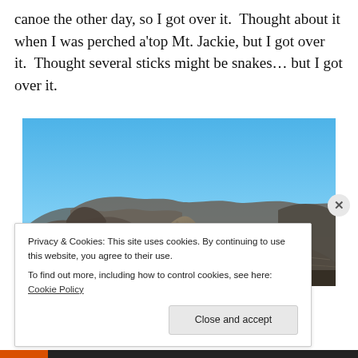canoe the other day, so I got over it.  Thought about it when I was perched a'top Mt. Jackie, but I got over it.  Thought several sticks might be snakes… but I got over it.
[Figure (photo): Photograph of eroded badlands rock formations with layered grey and brown rock faces under a clear bright blue sky.]
Privacy & Cookies: This site uses cookies. By continuing to use this website, you agree to their use.
To find out more, including how to control cookies, see here: Cookie Policy
Close and accept